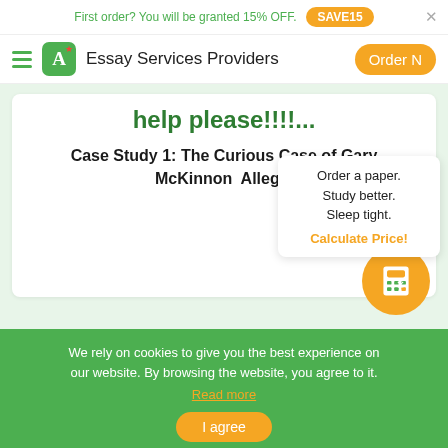First order? You will be granted 15% OFF. SAVE15
Essay Services Providers  Order N
help please!!!!...
Case Study 1: The Curious Case of Gary McKinnon  Alleg...
Order a paper. Study better. Sleep tight. Calculate Price!
We rely on cookies to give you the best experience on our website. By browsing the website, you agree to it. Read more
I agree